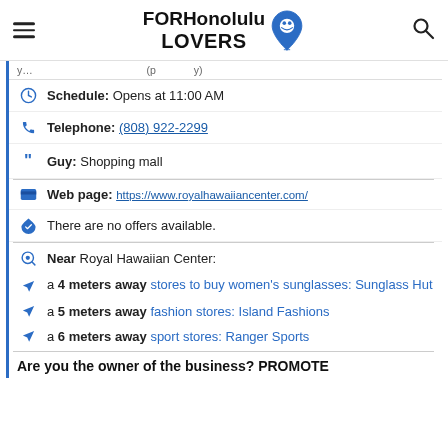FOR Honolulu LOVERS
Schedule: Opens at 11:00 AM
Telephone: (808) 922-2299
Guy: Shopping mall
Web page: https://www.royalhawaiiancenter.com/
There are no offers available.
Near Royal Hawaiian Center:
a 4 meters away stores to buy women's sunglasses: Sunglass Hut
a 5 meters away fashion stores: Island Fashions
a 6 meters away sport stores: Ranger Sports
Are you the owner of the business? PROMOTE